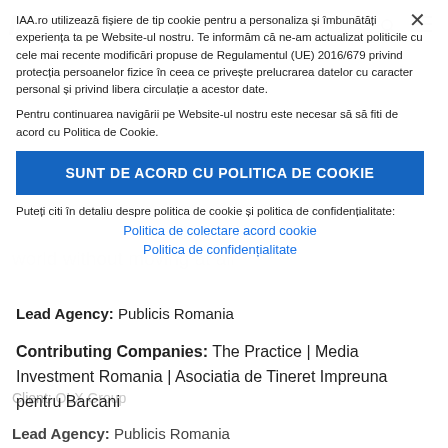[Figure (screenshot): IAA.ro website cookie consent overlay modal]
IAA.ro utilizează fișiere de tip cookie pentru a personaliza și îmbunătăți experiența ta pe Website-ul nostru. Te informăm că ne-am actualizat politicile cu cele mai recente modificări propuse de Regulamentul (UE) 2016/679 privind protecția persoanelor fizice în ceea ce privește prelucrarea datelor cu caracter personal și privind libera circulație a acestor date.
Pentru continuarea navigării pe Website-ul nostru este necesar să să fiti de acord cu Politica de Cookie.
SUNT DE ACORD CU POLITICA DE COOKIE
Puteți citi în detaliu despre politica de cookie și politica de confidențialitate:
Politica de colectare acord cookie
Politica de confidențialitate
Lead Agency: Publicis Romania
Contributing Companies: The Practice | Media Investment Romania | Asociatia de Tineret Impreuna pentru Barcani